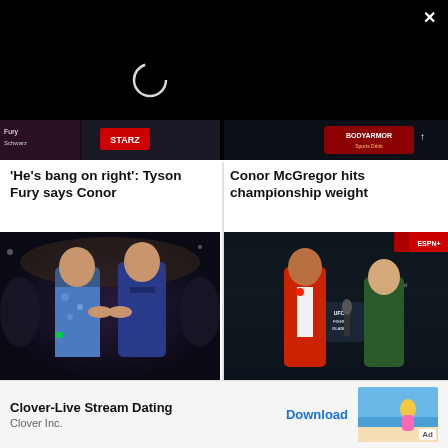[Figure (screenshot): Black video player area with loading spinner and close button, showing partially visible fight video thumbnails at the bottom]
'He's bang on right': Tyson Fury says Conor
Conor McGregor hits championship weight
[Figure (photo): Two MMA fighters in a close face-off confrontation at a press event, one in a floral shirt and one in a blue suit]
[Figure (photo): Conor McGregor in a red suit being interviewed on a red carpet at UFC Fight Island in Abu Dhabi]
'You know what it is in the...
Watch: 'Part of me wants to... like a...
Clover-Live Stream Dating
Clover Inc.
Download
[Figure (photo): Ad image showing a woman on a beach]